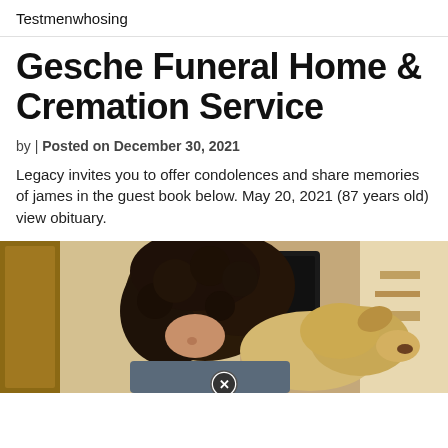Testmenwhosing
Gesche Funeral Home & Cremation Service
by | Posted on December 30, 2021
Legacy invites you to offer condolences and share memories of james in the guest book below. May 20, 2021 (87 years old) view obituary.
[Figure (photo): A person with curly dark hair leaning on a dog, indoors, with a close-up button/icon overlay at bottom center.]